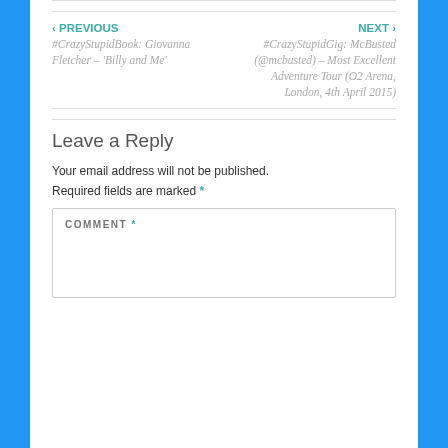‹ PREVIOUS
#CrazyStupidBook: Giovanna Fletcher – 'Billy and Me'
NEXT ›
#CrazyStupidGig: McBusted (@mcbusted) – Most Excellent Adventure Tour (O2 Arena, London, 4th April 2015)
Leave a Reply
Your email address will not be published.
Required fields are marked *
COMMENT *